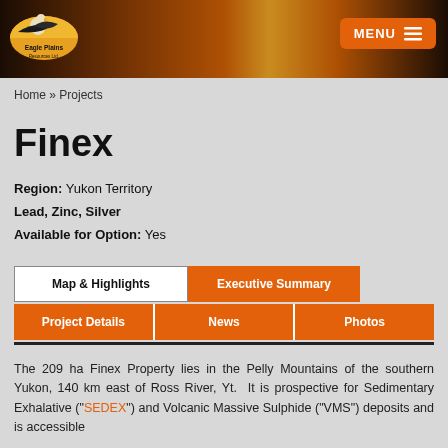[Figure (logo): Eagle Plains Resources Ltd. logo with eagle bird graphic on orange/yellow semicircle background, company name below]
MENU
Home » Projects
Finex
Region: Yukon Territory
Lead, Zinc, Silver
Available for Option: Yes
Map & Highlights | Executive Summary | Project Details | News | Photos
The 209 ha Finex Property lies in the Pelly Mountains of the southern Yukon, 140 km east of Ross River, Yt. It is prospective for Sedimentary Exhalative ("SEDEX") and Volcanic Massive Sulphide ("VMS") deposits and is accessible